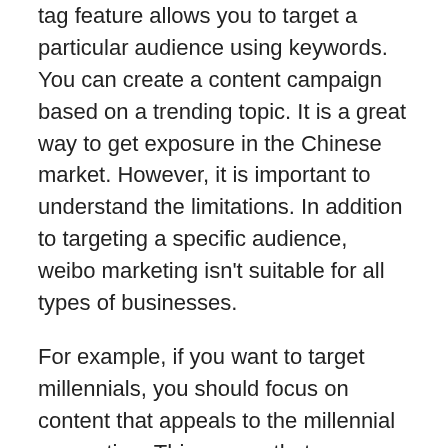tag feature allows you to target a particular audience using keywords. You can create a content campaign based on a trending topic. It is a great way to get exposure in the Chinese market. However, it is important to understand the limitations. In addition to targeting a specific audience, weibo marketing isn't suitable for all types of businesses.
For example, if you want to target millennials, you should focus on content that appeals to the millennial generation. This means that your content should be dynamic and creative. You should use hashtags that are popular and trending. You should also target a demographic that is likely to be interested in your product or service. This way, you will increase the chance of new followers. You can create a Weibo campaign by using content related to celebrity or entertainment.
Besides hashtags, you should consider creating multimedia content on Weibo. This social media